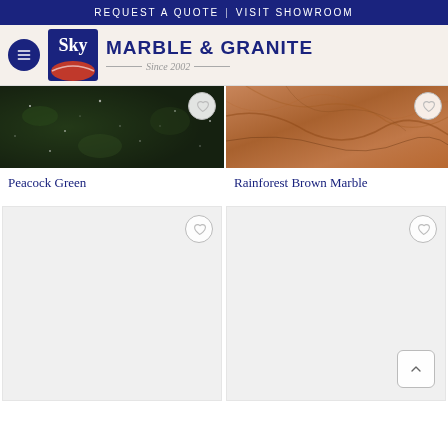REQUEST A QUOTE | VISIT SHOWROOM
[Figure (logo): Sky Marble & Granite logo with navigation header, Since 2002]
[Figure (photo): Peacock Green granite stone texture - dark green with crystal sparkles]
Peacock Green
[Figure (photo): Rainforest Brown Marble stone texture - warm brown with veining]
Rainforest Brown Marble
[Figure (photo): Empty product card with wishlist heart icon (left)]
[Figure (photo): Empty product card with wishlist heart icon (right) and scroll-to-top button]